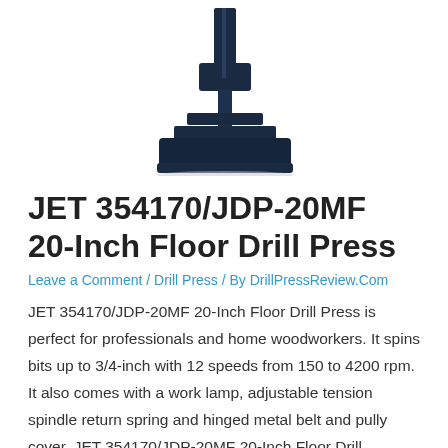[Figure (photo): Dark blue/black floor drill press machine showing the base and column portion of the unit]
JET 354170/JDP-20MF 20-Inch Floor Drill Press
Leave a Comment / Drill Press / By DrillPressReview.Com
JET 354170/JDP-20MF 20-Inch Floor Drill Press is perfect for professionals and home woodworkers. It spins bits up to 3/4-inch with 12 speeds from 150 to 4200 rpm. It also comes with a work lamp, adjustable tension spindle return spring and hinged metal belt and pully cover. JET 354170/JDP-20MF 20-Inch Floor Drill